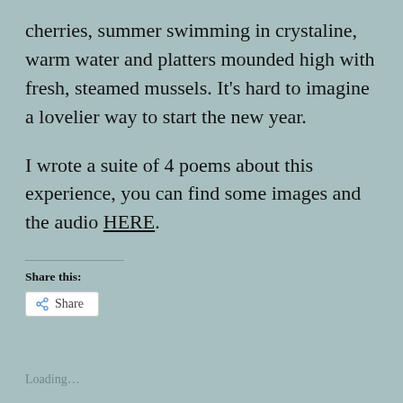cherries, summer swimming in crystaline, warm water and platters mounded high with fresh, steamed mussels. It’s hard to imagine a lovelier way to start the new year.
I wrote a suite of 4 poems about this experience, you can find some images and the audio HERE.
Share this:
Share
Loading…